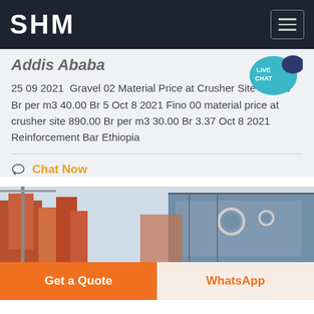SHM
Addis Ababa
25 09 2021  Gravel 02 Material Price at Crusher Site 800.00 Br per m3 40.00 Br 5 Oct 8 2021 Fino 00 material price at crusher site 890.00 Br per m3 30.00 Br 3.37 Oct 8 2021 Reinforcement Bar Ethiopia
Chat Now
[Figure (photo): Industrial crusher machinery with orange metal structures and blue/grey equipment panels]
Get a Quote
WhatsApp